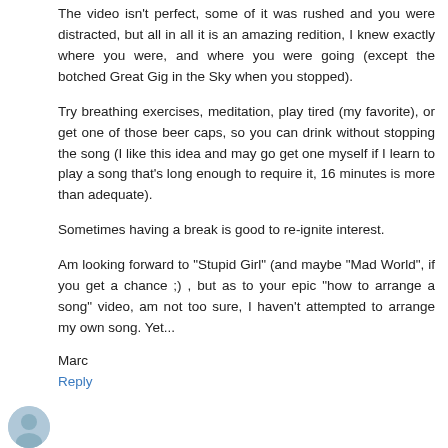The video isn't perfect, some of it was rushed and you were distracted, but all in all it is an amazing redition, I knew exactly where you were, and where you were going (except the botched Great Gig in the Sky when you stopped).
Try breathing exercises, meditation, play tired (my favorite), or get one of those beer caps, so you can drink without stopping the song (I like this idea and may go get one myself if I learn to play a song that's long enough to require it, 16 minutes is more than adequate).
Sometimes having a break is good to re-ignite interest.
Am looking forward to "Stupid Girl" (and maybe "Mad World", if you get a chance ;) , but as to your epic "how to arrange a song" video, am not too sure, I haven't attempted to arrange my own song. Yet...
Marc
Reply
[Figure (illustration): Partial circular avatar image at bottom left corner]